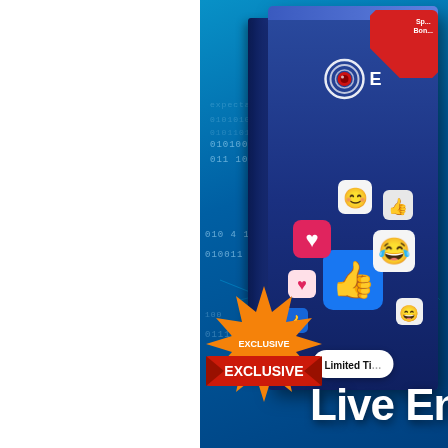[Figure (illustration): Marketing promotional image showing a software product box with blue tech/digital background featuring binary numbers and circuit lines. The box displays an eye logo icon and social media emoji/reaction icons. An orange 'EXCLUSIVE' starburst badge appears in the bottom left. A red corner ribbon reads 'Sp... Bon...' (Special Bonus). A white pill badge reads 'Limited Ti...' (Limited Time). Large white bold text at bottom right reads 'Live En...' (Live Engine or similar). Left portion of page is white.]